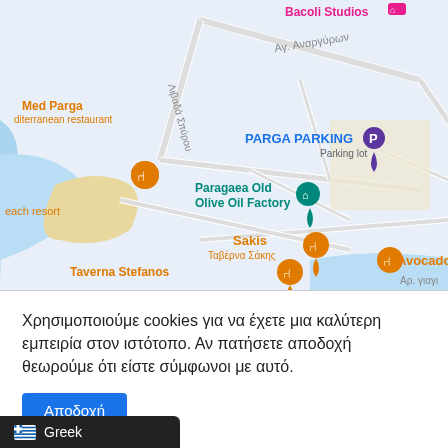[Figure (map): Google Maps screenshot showing Parga, Greece area with location pins for Med Parga Mediterranean restaurant, Paragaea Old Olive Oil Factory, Sakis Taverna Sakis, Avocado Cocktail Bar, Taverna Stefanos, PARGA PARKING, Bacoli Studios, and beach/water features. Street labels in Greek including Αγ. Αναργύρων, Λιβαδά Σπύρου.]
Χρησιμοποιούμε cookies για να έχετε μια καλύτερη εμπειρία στον ιστότοπο. Αν πατήσετε αποδοχή θεωρούμε ότι είστε σύμφωνοι με αυτό.
Αποδοχή
Greek